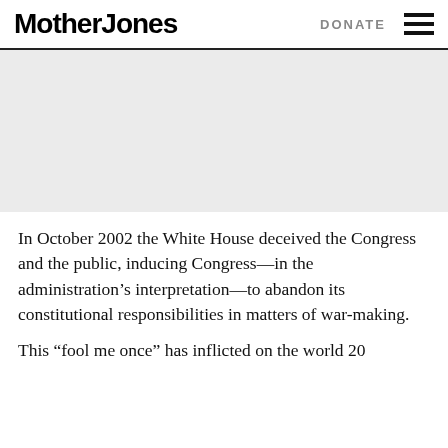Mother Jones | DONATE
[Figure (other): Gray placeholder image area]
In October 2002 the White House deceived the Congress and the public, inducing Congress—in the administration's interpretation—to abandon its constitutional responsibilities in matters of war-making.
This “fool me once” has inflicted on the world 20